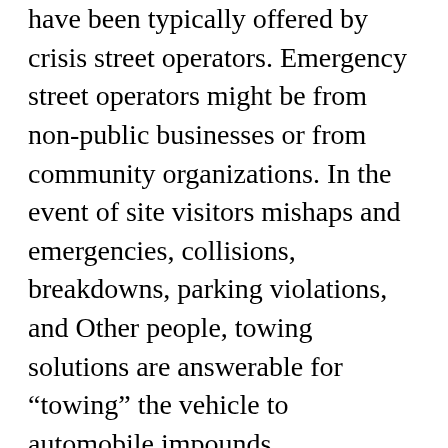have been typically offered by crisis street operators. Emergency street operators might be from non-public businesses or from community organizations. In the event of site visitors mishaps and emergencies, collisions, breakdowns, parking violations, and Other people, towing solutions are answerable for "towing" the vehicle to automobile impounds.
Towing companies are fairly common today being a type of business. It's because on a day after day basis, you'll find countless targeted traffic accidents that come about within the streets of The usa. Additionally, there are also in excess of a thousand